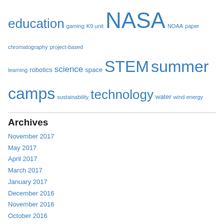education gaming K9 unit NASA NOAA paper chromatography project-based learning robotics science space STEM summer camps sustainability technology water wind energy
Archives
November 2017
May 2017
April 2017
March 2017
January 2017
December 2016
November 2016
October 2016
September 2016
August 2016
April 2016
March 2016